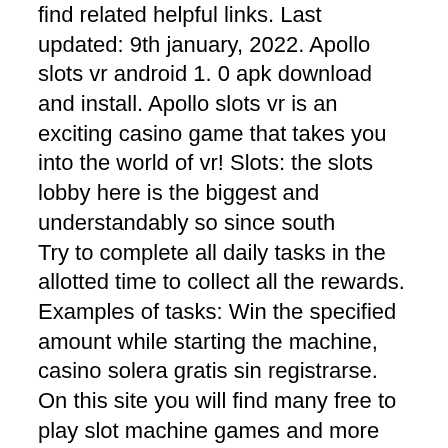find related helpful links. Last updated: 9th january, 2022. Apollo slots vr android 1. 0 apk download and install. Apollo slots vr is an exciting casino game that takes you into the world of vr! Slots: the slots lobby here is the biggest and understandably so since south Try to complete all daily tasks in the allotted time to collect all the rewards. Examples of tasks: Win the specified amount while starting the machine, casino solera gratis sin registrarse. On this site you will find many free to play slot machine games and more are added all the time, alternatively games than casino for events. Please take a look around and you are sure to discover a game you enjoy playing. For starting to play you should choose the wager, free slot games casino games. It starts from 50 coins per bet. Every player, beginner or experienced one, will find his favorite